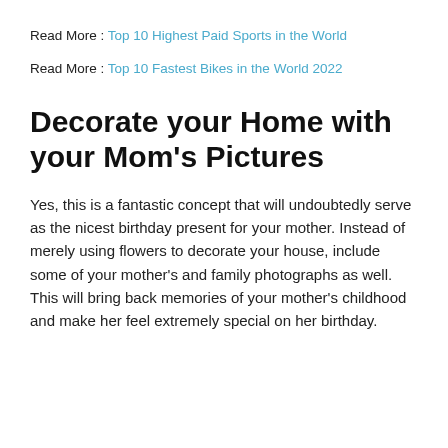Read More : Top 10 Highest Paid Sports in the World
Read More : Top 10 Fastest Bikes in the World 2022
Decorate your Home with your Mom's Pictures
Yes, this is a fantastic concept that will undoubtedly serve as the nicest birthday present for your mother. Instead of merely using flowers to decorate your house, include some of your mother's and family photographs as well. This will bring back memories of your mother's childhood and make her feel extremely special on her birthday.